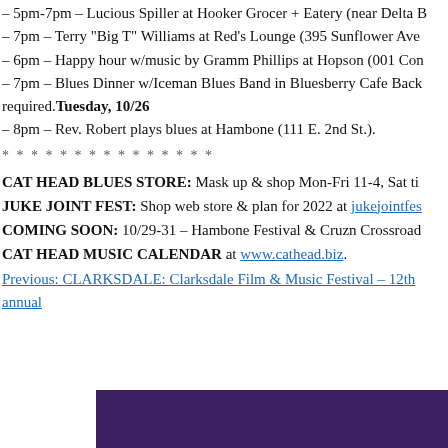– 5pm-7pm – Lucious Spiller at Hooker Grocer + Eatery (near Delta B…
– 7pm – Terry "Big T" Williams at Red's Lounge (395 Sunflower Ave…
– 6pm – Happy hour w/music by Gramm Phillips at Hopson (001 Com…
– 7pm – Blues Dinner w/Iceman Blues Band in Bluesberry Cafe Back…
required. Tuesday, 10/26
– 8pm – Rev. Robert plays blues at Hambone (111 E. 2nd St.).
* * * * * * * * * * * * * * *
CAT HEAD BLUES STORE: Mask up & shop Mon-Fri 11-4, Sat ti…
JUKE JOINT FEST: Shop web store & plan for 2022 at jukejointfes…
COMING SOON: 10/29-31 – Hambone Festival & Cruzn Crossroad…
CAT HEAD MUSIC CALENDAR at www.cathead.biz.
Previous: CLARKSDALE: Clarksdale Film & Music Festival – 12th annual
[Figure (photo): Purple/dark violet textured background image at the bottom of the page]